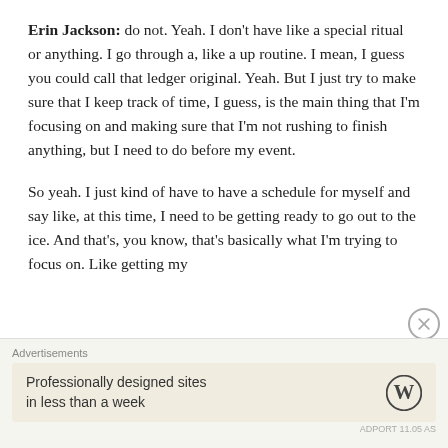Erin Jackson: do not. Yeah. I don't have like a special ritual or anything. I go through a, like a up routine. I mean, I guess you could call that ledger original. Yeah. But I just try to make sure that I keep track of time, I guess, is the main thing that I'm focusing on and making sure that I'm not rushing to finish anything, but I need to do before my event.
So yeah. I just kind of have to have a schedule for myself and say like, at this time, I need to be getting ready to go out to the ice. And that's, you know, that's basically what I'm trying to focus on. Like getting my
[Figure (other): Advertisement banner with WordPress logo. Text reads: 'Professionally designed sites in less than a week']